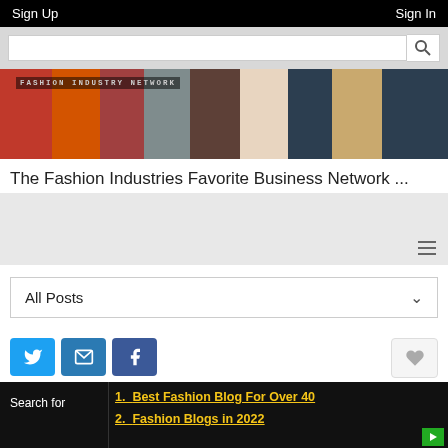Sign Up   Sign In
[Figure (screenshot): Search bar with magnifying glass icon on gray background]
[Figure (photo): Fashion Industry Network banner with group of fashion models and overlay text FASHION INDUSTRY NETWORK]
The Fashion Industries Favorite Business Network ...
[Figure (screenshot): Gray section with hamburger menu icon in bottom right]
[Figure (screenshot): All Posts dropdown selector]
[Figure (screenshot): Social share buttons: Twitter, Email, Facebook, and heart/like button]
Search for
1. Best Fashion Blog For Over 40
2. Fashion Blogs in 2022